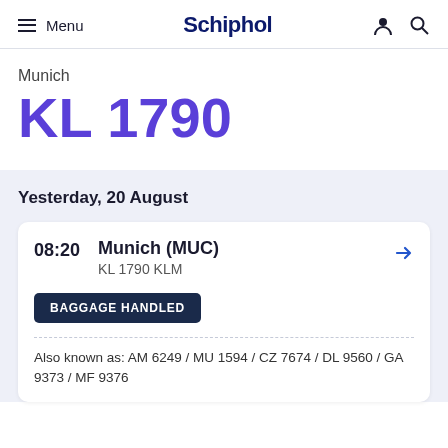Menu | Schiphol
Munich
KL 1790
Yesterday, 20 August
08:20  Munich (MUC)
KL 1790 KLM
BAGGAGE HANDLED
Also known as: AM 6249 / MU 1594 / CZ 7674 / DL 9560 / GA 9373 / MF 9376